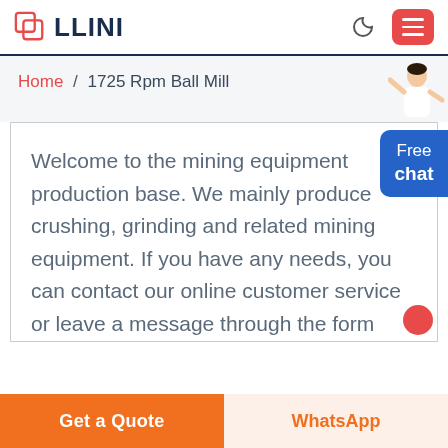LLINI
Home / 1725 Rpm Ball Mill
Welcome to the mining equipment production base. We mainly produce crushing, grinding and related mining equipment. If you have any needs, you can contact our online customer service or leave a message through the form below.
Get a Quote
WhatsApp